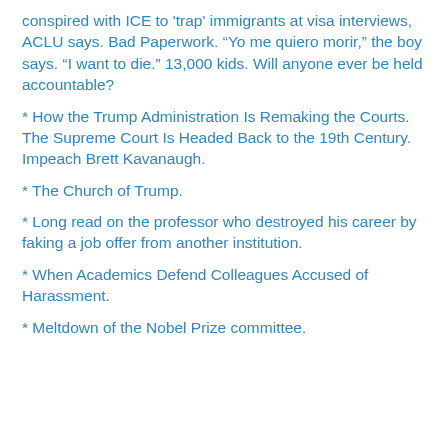conspired with ICE to 'trap' immigrants at visa interviews, ACLU says. Bad Paperwork. “Yo me quiero morir,” the boy says. “I want to die.” 13,000 kids. Will anyone ever be held accountable?
* How the Trump Administration Is Remaking the Courts. The Supreme Court Is Headed Back to the 19th Century. Impeach Brett Kavanaugh.
* The Church of Trump.
* Long read on the professor who destroyed his career by faking a job offer from another institution.
* When Academics Defend Colleagues Accused of Harassment.
* Meltdown of the Nobel Prize committee.